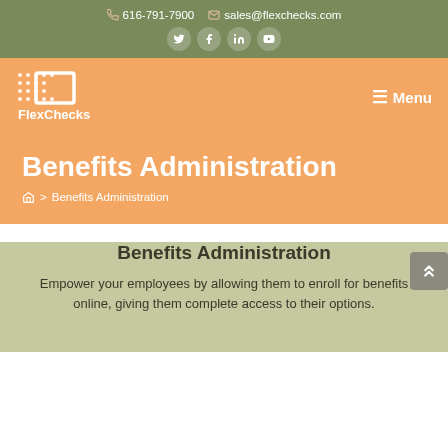616-791-7900  sales@flexchecks.com
[Figure (logo): FlexChecks logo with dotted square icon and text 'FlexChecks']
Menu
Benefits Administration
🏠 > Benefits Administration
Benefits Administration
Empower your employees by allowing them to enroll for benefits online, giving them complete access to their options.